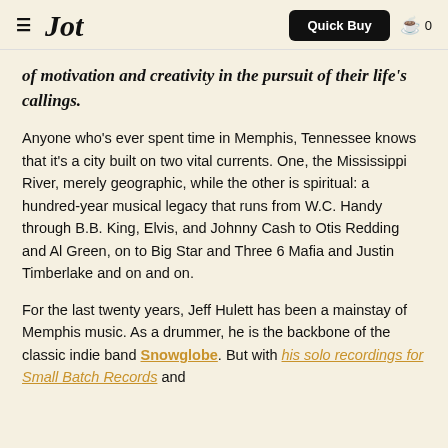Jot | Quick Buy | 0
of motivation and creativity in the pursuit of their life's callings.
Anyone who's ever spent time in Memphis, Tennessee knows that it's a city built on two vital currents. One, the Mississippi River, merely geographic, while the other is spiritual: a hundred-year musical legacy that runs from W.C. Handy through B.B. King, Elvis, and Johnny Cash to Otis Redding and Al Green, on to Big Star and Three 6 Mafia and Justin Timberlake and on and on.
For the last twenty years, Jeff Hulett has been a mainstay of Memphis music. As a drummer, he is the backbone of the classic indie band Snowglobe. But with his solo recordings for Small Batch Records and